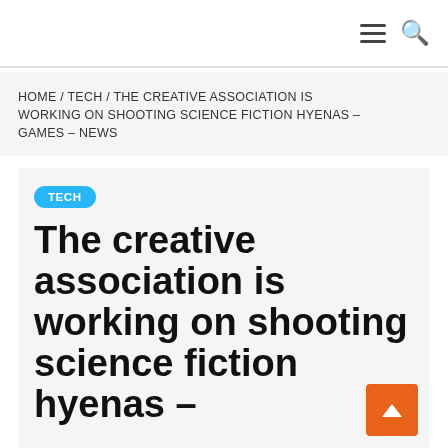≡ 🔍
HOME / TECH / THE CREATIVE ASSOCIATION IS WORKING ON SHOOTING SCIENCE FICTION HYENAS – GAMES – NEWS
The creative association is working on shooting science fiction hyenas –